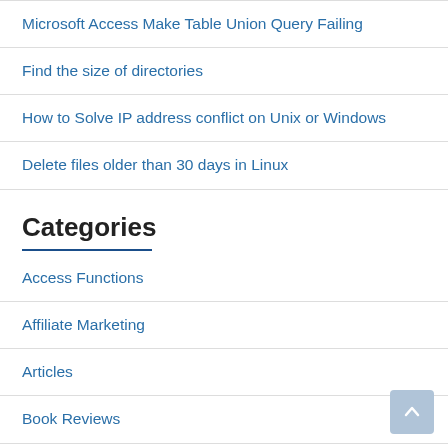Microsoft Access Make Table Union Query Failing
Find the size of directories
How to Solve IP address conflict on Unix or Windows
Delete files older than 30 days in Linux
Categories
Access Functions
Affiliate Marketing
Articles
Book Reviews
MySQL Book Reviews
Oracle Book Reviews
Other Book Reviews